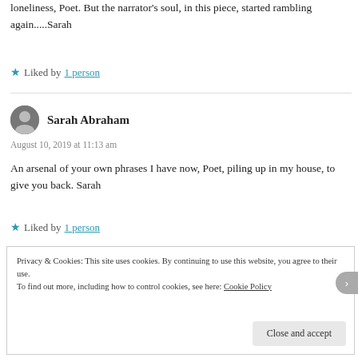loneliness, Poet. But the narrator's soul, in this piece, started rambling again.....Sarah
★ Liked by 1 person
Sarah Abraham
August 10, 2019 at 11:13 am
An arsenal of your own phrases I have now, Poet, piling up in my house, to give you back. Sarah
★ Liked by 1 person
Privacy & Cookies: This site uses cookies. By continuing to use this website, you agree to their use. To find out more, including how to control cookies, see here: Cookie Policy
Close and accept